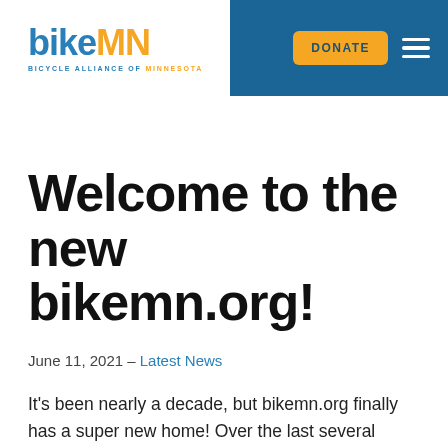bikeMN — BICYCLE ALLIANCE OF MINNESOTA | DONATE
Welcome to the new bikemn.org!
June 11, 2021 – Latest News
It's been nearly a decade, but bikemn.org finally has a super new home! Over the last several months, staff and our web team at Windmill Strategy have been working